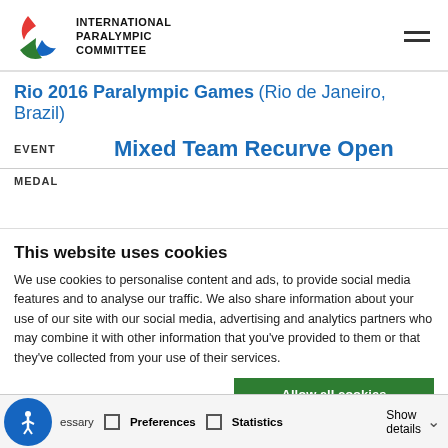[Figure (logo): International Paralympic Committee logo with three agitos (red, blue, green) and IPC wordmark]
Rio 2016 Paralympic Games (Rio de Janeiro, Brazil)
EVENT   Mixed Team Recurve Open
MEDAL
This website uses cookies
We use cookies to personalise content and ads, to provide social media features and to analyse our traffic. We also share information about your use of our site with our social media, advertising and analytics partners who may combine it with other information that you've provided to them or that they've collected from your use of their services.
Allow all cookies
Allow selection
Use necessary cookies on
essary   Preferences   Statistics   Show details